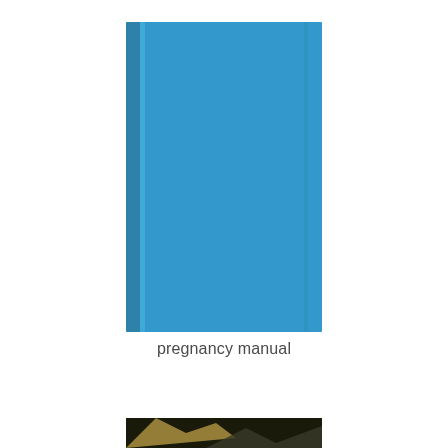[Figure (illustration): A blue hardcover book (pregnancy manual) shown at an angle with a spine visible on the left side. The cover is a solid sky blue color with no text visible on the cover itself.]
pregnancy manual
[Figure (photo): A partially visible photograph at the bottom of the page showing what appears to be a dark background with some light elements, cropped.]